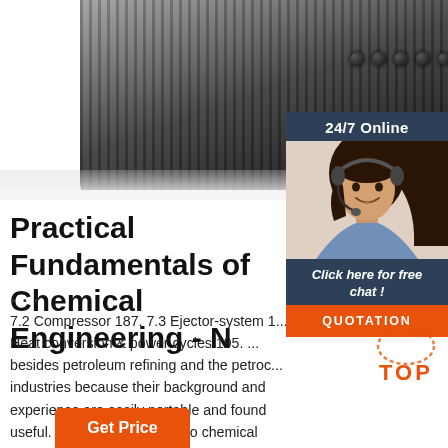[Figure (photo): Dark ribbed device/appliance on a light background, top portion of the page]
[Figure (photo): 24/7 Online chat widget with a woman wearing a headset, a 'Click here for free chat!' message, and a QUOTATION button]
Practical Fundamentals of Chemical Engineering - N ...
...
7.2 Compressor 187. 7.3 Ejector-system 1... Heat conversion & power cycles 195. ... besides petroleum refining and the petroc... industries because their background and experience are easily portable and found useful. Products of concern to chemical engineers range from commodity chemicals like sulphuric acid and chlorine to high ...
[Figure (logo): Orange TOP button with dotted circle and orange dots]
[Figure (other): Orange 'Get Price' button at the bottom]